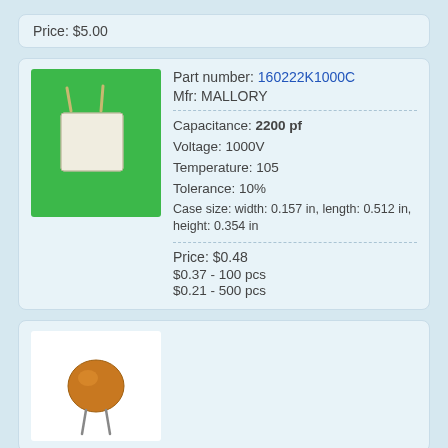Price: $5.00
[Figure (photo): Film capacitor on green background — white rectangular body with two leads, brand MALLORY part 160222K1000C]
Part number: 160222K1000C
Mfr: MALLORY
Capacitance: 2200 pf
Voltage: 1000V
Temperature: 105
Tolerance: 10%
Case size: width: 0.157 in, length: 0.512 in, height: 0.354 in
Price: $0.48
$0.37 - 100 pcs
$0.21 - 500 pcs
[Figure (photo): Disc capacitor on white background — amber/orange circular ceramic disc body with two wire leads]